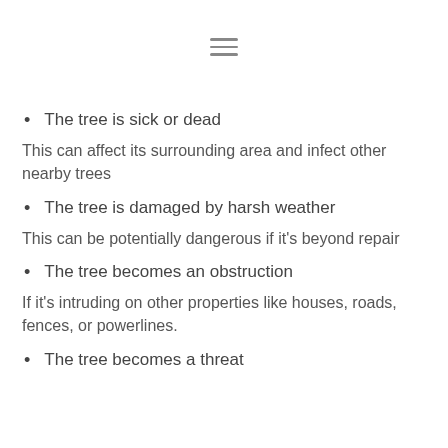[Figure (other): Hamburger menu icon (three horizontal lines)]
The tree is sick or dead
This can affect its surrounding area and infect other nearby trees
The tree is damaged by harsh weather
This can be potentially dangerous if it's beyond repair
The tree becomes an obstruction
If it's intruding on other properties like houses, roads, fences, or powerlines.
The tree becomes a threat